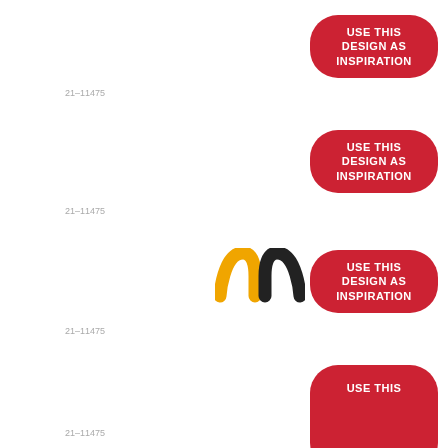21-11475
[Figure (other): Red rounded rectangle badge with white bold text: USE THIS DESIGN AS INSPIRATION]
[Figure (logo): McDonald's golden arches logo (partial)]
21-11475
[Figure (other): Red rounded rectangle badge with white bold text: USE THIS DESIGN AS INSPIRATION]
21-11475
[Figure (other): Red rounded rectangle badge with white bold text: USE THIS DESIGN AS INSPIRATION]
[Figure (photo): Yellow/green athletic vest garment]
21-11475
[Figure (other): Red rounded rectangle badge with white bold text: USE THIS (partially visible)]